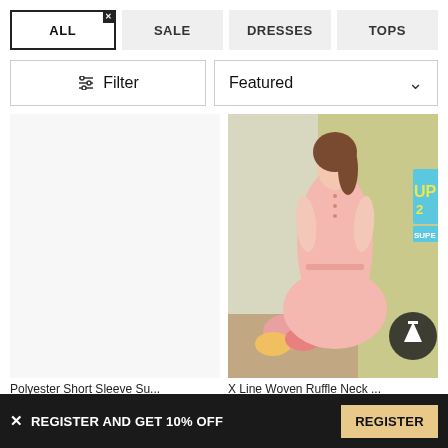ALL  SALE  DRESSES  TOPS
Filter   Featured
[Figure (photo): Woman wearing a pink short-sleeve button-up ruffle neck dress with tie waist, standing in front of a light green background with flowers. An 'UP 2 SUPER' promotional badge is partially visible on the right side. A scroll-to-top arrow button is overlaid at the bottom right.]
Polyester Short Sleeve Su...
X Line Woven Ruffle Neck ...
$31.00
$36.00
× REGISTER AND GET 10% OFF   REGISTER